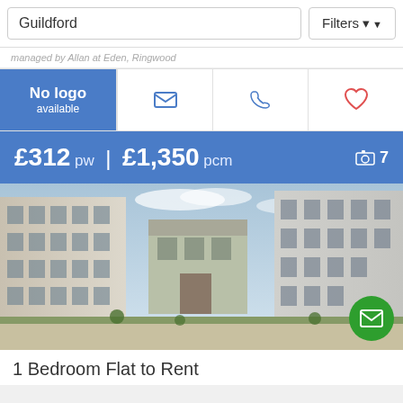Guildford
Filters
managed by Allan at Eden, Ringwood
[Figure (logo): No logo available placeholder in blue]
£312 pw | £1,350 pcm  📷 7
[Figure (photo): Aerial view of modern apartment complex courtyard with surrounding buildings in Guildford]
1 Bedroom Flat to Rent